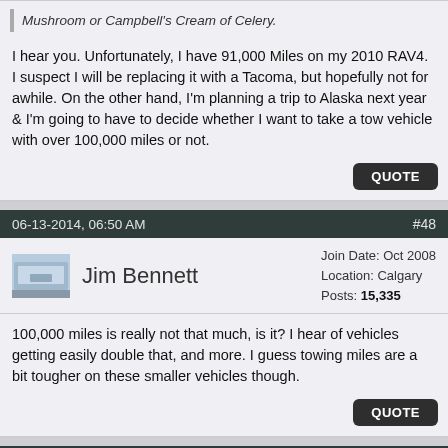Mushroom or Campbell's Cream of Celery.
I hear you. Unfortunately, I have 91,000 Miles on my 2010 RAV4. I suspect I will be replacing it with a Tacoma, but hopefully not for awhile. On the other hand, I'm planning a trip to Alaska next year & I'm going to have to decide whether I want to take a tow vehicle with over 100,000 miles or not.
QUOTE
06-13-2014, 06:50 AM   #48
Jim Bennett  Join Date: Oct 2008  Location: Calgary  Posts: 15,335
100,000 miles is really not that much, is it? I hear of vehicles getting easily double that, and more. I guess towing miles are a bit tougher on these smaller vehicles though.
QUOTE
06-13-2014, 08:06 AM   #49